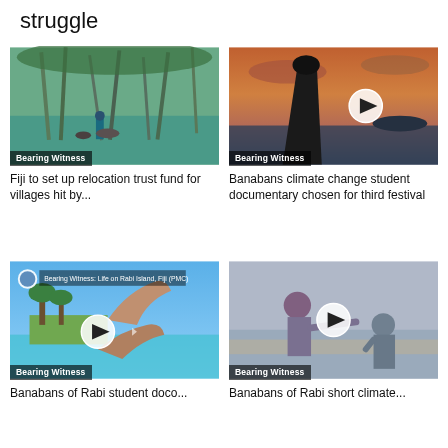struggle
[Figure (photo): Photo of a man standing in flooded area among dead palm trees with a 'Bearing Witness' badge]
Fiji to set up relocation trust fund for villages hit by...
[Figure (photo): Silhouette of a person against sunset sky over water with play button and 'Bearing Witness' badge]
Banabans climate change student documentary chosen for third festival
[Figure (photo): Video thumbnail showing tropical island with hands in foreground, play button overlay, and 'Bearing Witness: Life on Rabi Island, Fiji (PMC)' text and badge]
Banabans of Rabi student doco...
[Figure (photo): Two people sitting on a beach, woman and young man, with play button overlay and 'Bearing Witness' badge]
Banabans of Rabi short climate...